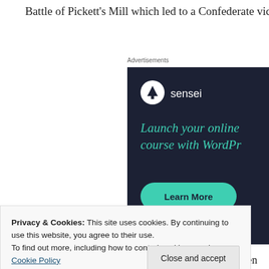Battle of Pickett's Mill which led to a Confederate victor
[Figure (screenshot): Advertisement for Sensei plugin – dark navy background with Sensei logo (white circle with tree icon), tagline 'Launch your online course with WordPress' in teal italic text, and a teal 'Learn More' rounded button.]
Privacy & Cookies: This site uses cookies. By continuing to use this website, you agree to their use. To find out more, including how to control cookies, see here: Cookie Policy
were in that incident. He was one of the youngest gen